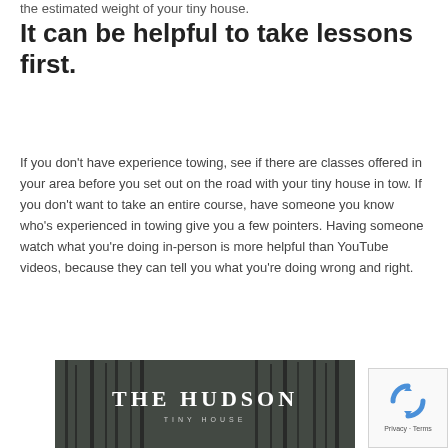the estimated weight of your tiny house.
It can be helpful to take lessons first.
If you don't have experience towing, see if there are classes offered in your area before you set out on the road with your tiny house in tow.  If you don't want to take an entire course, have someone you know who's experienced in towing give you a few pointers.  Having someone watch what you're doing in-person is more helpful than YouTube videos, because they can tell you what you're doing wrong and right.
[Figure (photo): Photo of bare winter trees with overlay text reading 'THE HUDSON TINY HOUSE']
[Figure (logo): Google reCAPTCHA badge with circular arrow icon and 'Privacy · Terms' text]